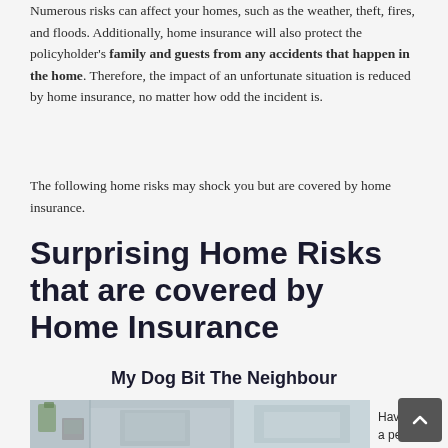Numerous risks can affect your homes, such as the weather, theft, fires, and floods. Additionally, home insurance will also protect the policyholder's family and guests from any accidents that happen in the home. Therefore, the impact of an unfortunate situation is reduced by home insurance, no matter how odd the incident is.
The following home risks may shock you but are covered by home insurance.
Surprising Home Risks that are covered by Home Insurance
My Dog Bit The Neighbour
[Figure (photo): Interior home photo showing a shelf with plants and a clock on the left, and a framed picture on the right against a door]
Having a pet is